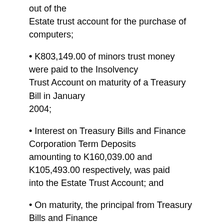out of the Estate trust account for the purchase of computers;
• K803,149.00 of minors trust money were paid to the Insolvency Trust Account on maturity of a Treasury Bill in January 2004;
• Interest on Treasury Bills and Finance Corporation Term Deposits amounting to K160,039.00 and K105,493.00 respectively, was paid into the Estate Trust Account; and
• On maturity, the principal from Treasury Bills and Finance Corporation Term Deposits amounting to K219,278.00 and K500,000.00 respectively, was paid into the Estate Trust